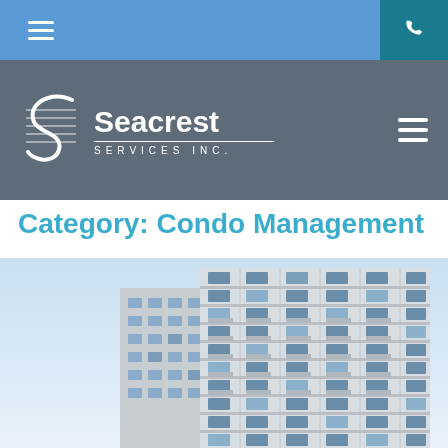Seacrest Services Inc. — mobile navigation header
[Figure (logo): Seacrest Services Inc. company logo with stylized 'S' icon on grey bar]
Category: Condo Management
[Figure (photo): Photo of a tall modern condominium building shot from below against a light blue sky, showing multiple floors with balconies and glass windows]